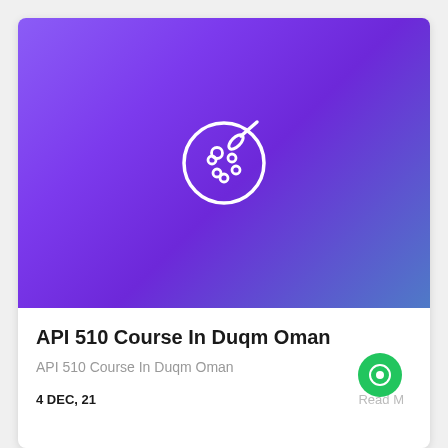[Figure (illustration): Purple to blue gradient banner with a white outline paint palette and brush icon centered on it]
API 510 Course In Duqm Oman
API 510 Course In Duqm Oman
4 DEC, 21
Read M...